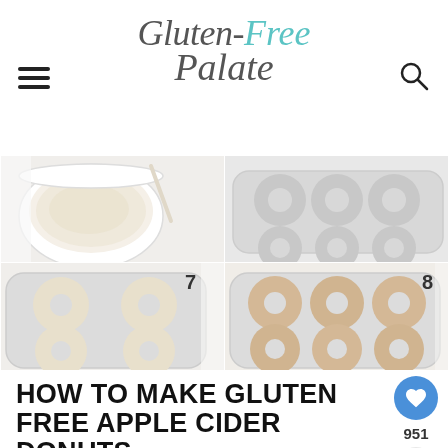Gluten-Free Palate
[Figure (photo): Four-panel step-by-step photo grid showing process of making gluten free apple cider donuts: top-left shows batter in a bowl, top-right shows empty donut pan, bottom-left (step 7) shows donut pan filled with raw batter, bottom-right (step 8) shows baked donuts in the pan]
HOW TO MAKE GLUTEN FREE APPLE CIDER DONUTS